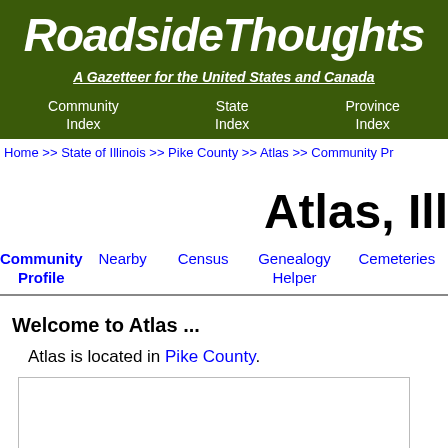RoadsideThoughts
A Gazetteer for the United States and Canada
Community Index | State Index | Province Index
Home >> State of Illinois >> Pike County >> Atlas >> Community Profile
Atlas, Illinois
Community Profile | Nearby | Census | Genealogy Helper | Cemeteries
Welcome to Atlas ...
Atlas is located in Pike County.
[Figure (other): Map placeholder box]